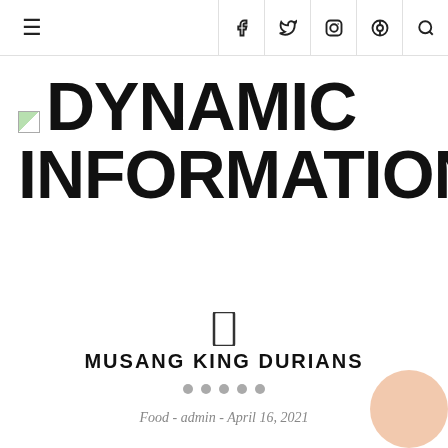☰  f  tw  instagram  pinterest  search
DYNAMIC INFORMATIONS
[Figure (other): Small landscape thumbnail image placeholder (broken image icon)]
MUSANG KING DURIANS
Food - admin - April 16, 2021